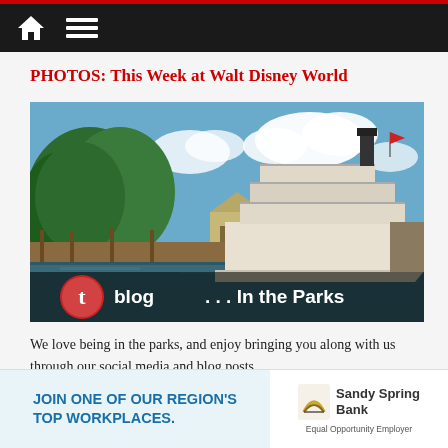Navigation bar with home icon and menu icon
PHOTOS: This Week at Walt Disney World
[Figure (photo): A riverboat (paddlewheel steamboat) docked at a waterfront area with trees and buildings in the background, overlaid with 't blog ... In the Parks' text branding]
We love being in the parks, and enjoy bringing you along with us through our social media and blog posts.
[Figure (infographic): Advertisement banner: 'JOIN ONE OF OUR REGION'S TOP WORKPLACES.' on left side, Sandy Spring Bank logo and Equal Opportunity Employer text on right side]